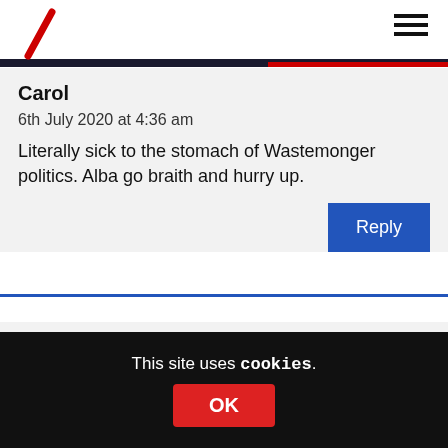Carol
6th July 2020 at 4:36 am
Literally sick to the stomach of Wastemonger politics. Alba go braith and hurry up.
Wul
6th July 2020 at 11:29 am
This site uses cookies.